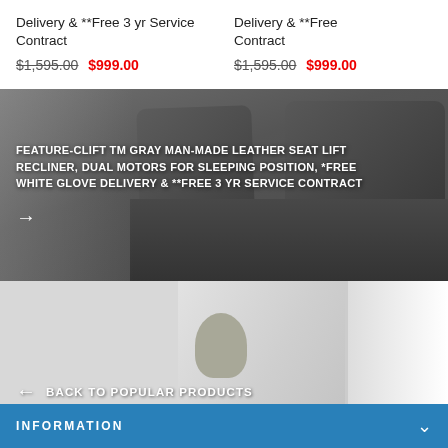Delivery & **Free 3 yr Service Contract
$1,595.00  $999.00
Delivery & **Free 3 yr Service Contract
$1,595.00  $999.00
[Figure (photo): Dark gray man-made leather seat lift recliner sofa, with text overlay: FEATURE-CLIFT TM GRAY MAN-MADE LEATHER SEAT LIFT RECLINER, DUAL MOTORS FOR SLEEPING POSITION, *FREE WHITE GLOVE DELIVERY & **FREE 3 YR SERVICE CONTRACT, with a right arrow]
[Figure (photo): Stairlift chair on stair rail, with BACK TO POPULAR PRODUCTS button and left arrow]
INFORMATION